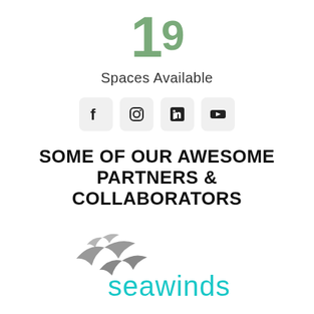19
Spaces Available
[Figure (infographic): Four social media icons in rounded square boxes: Facebook, Instagram, LinkedIn, YouTube]
SOME OF OUR AWESOME PARTNERS & COLLABORATORS
[Figure (logo): Seawinds logo: grey seagulls flying with 'seawinds' text in teal/cyan color below]